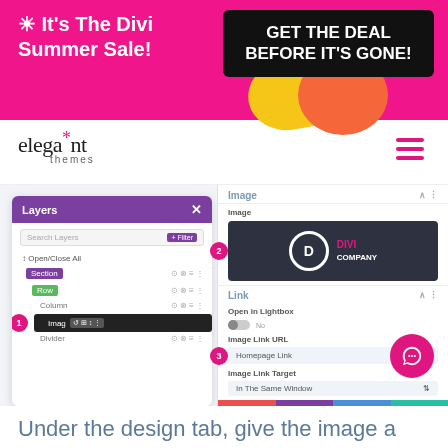[Figure (screenshot): Pink promotional banner with text 'It's The Divi Summer Sale!' on the left and a black box saying 'GET THE DEAL BEFORE IT'S GONE!' on the right, with yellow and orange decorative blobs]
[Figure (logo): Elegant Themes logo - cursive 'elegant' text with pink asterisk and 'themes' subtitle, with pink hamburger menu icon on the right]
[Figure (screenshot): Screenshot of Divi builder interface showing: left panel with Layers panel (purple header) showing Section, Row, Column, Image layers with badge number 1; right panel showing Image settings with Divi Company logo preview (badge 2), Link section with Open in Lightbox toggle, Image Link URL field showing 'Homepage Link' (badge 3), Image Link Target dropdown showing 'In The Same Window', and action buttons at the bottom]
Under the design tab, give the image a